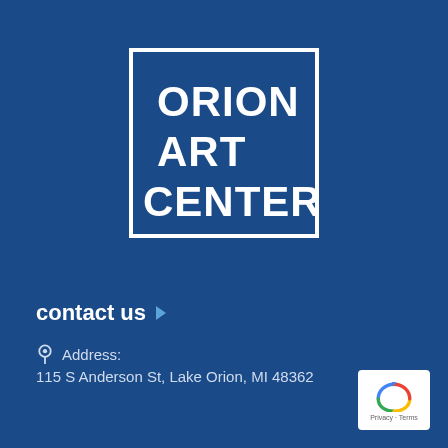[Figure (logo): Orion Art Center logo: white square border with bold white text reading ORION ART CENTER on a dark blue background]
contact us
Address: 115 S Anderson St, Lake Orion, MI 48362
[Figure (other): Google reCAPTCHA badge with Privacy and Terms links]